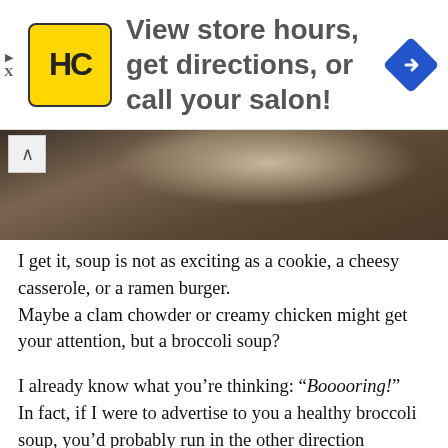[Figure (other): Advertisement banner for HC (Hair Club) salon with logo and text 'View store hours, get directions, or call your salon!' and a blue navigation arrow diamond icon.]
[Figure (photo): Partial photo of food on a wooden surface, partially visible at top of content area with an up-arrow button.]
I get it, soup is not as exciting as a cookie, a cheesy casserole, or a ramen burger. Maybe a clam chowder or creamy chicken might get your attention, but a broccoli soup?
I already know what you’re thinking: “Booooring!” In fact, if I were to advertise to you a healthy broccoli soup, you’d probably run in the other direction screaming “Please not another greenish healthy soup!” Still, I think that soup may be the most under appreciated category of food. There is something awesomely